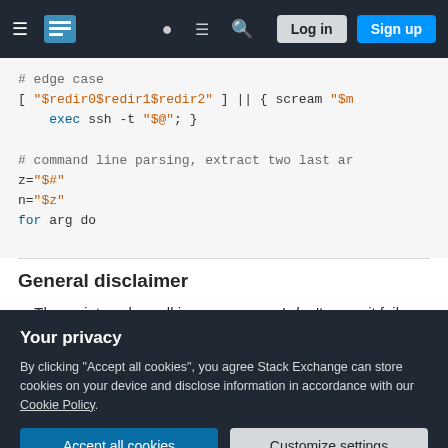Stack Exchange navigation bar with hamburger menu, logo, help, chat, search icons, Log in and Sign up buttons
[Figure (screenshot): Code block showing shell script with syntax highlighting: # edge case, [ "$redir0$redir1$redir2" ] || { scream "$m, exec ssh -t "$@"; }, # command line parsing, extract two last ar, z="$#", n="$z", for arg do]
General disclaimer
The script works well in many cases. I don't mean it fails randomly. It doesn't fail randomly. I
Your privacy
By clicking "Accept all cookies", you agree Stack Exchange can store cookies on your device and disclose information in accordance with our Cookie Policy.
Accept all cookies    Customize settings
channels not including any tty is always fine.